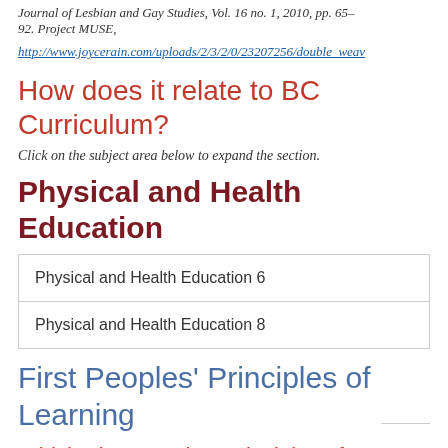Journal of Lesbian and Gay Studies, Vol. 16 no. 1, 2010, pp. 65–92. Project MUSE, http://www.joycerain.com/uploads/2/3/2/0/23207256/double_weav...
How does it relate to BC Curriculum?
Click on the subject area below to expand the section.
Physical and Health Education
Physical and Health Education 6
Physical and Health Education 8
First Peoples' Principles of Learning
Which First Peoples' Principles of Learning apply?